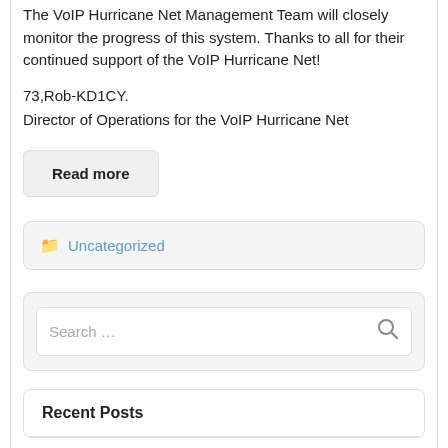The VoIP Hurricane Net Management Team will closely monitor the progress of this system. Thanks to all for their continued support of the VoIP Hurricane Net!
73,Rob-KD1CY.
Director of Operations for the VoIP Hurricane Net
Read more
Uncategorized
Search …
Recent Posts